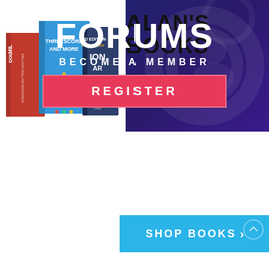[Figure (illustration): Alan's Forums banner ad with dark navy/purple gradient background, decorative circular motifs, large white bold text reading FORUMS, subtitle BECOME A MEMBER, and a crimson/pink REGISTER button]
[Figure (photo): Stack of Alan Weiss books including Threescore and More, Million Dollar Maverick, and a marketing book]
ALAN'S BOOKS
[Figure (illustration): Blue SHOP BOOKS button with right arrow]